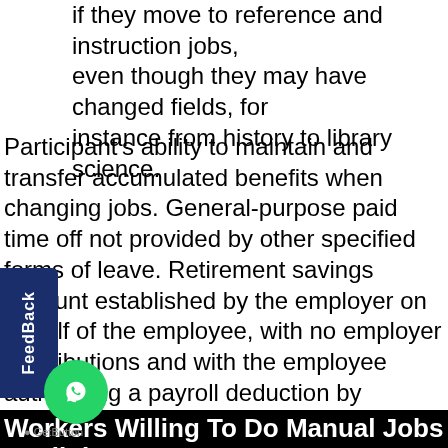if they move to reference and instruction jobs, even though they may have changed fields, for instance from history to library science.
Participant's ability to maintain and transfer accumulated benefits when changing jobs. General-purpose paid time off not provided by other specified forms of leave. Retirement savings account established by the employer on behalf of the employee, with no employer contributions and with the employee authorizing a payroll deduction by employer. Efficiency at which purchased services are used in producing output of goods and services. Efficiency at which materials are utilized in producing output of goods and services. Efficiency at which energy inputs are utilized in producing output of goods and services.
Workers Willing To Do Manual Jobs Declinin...